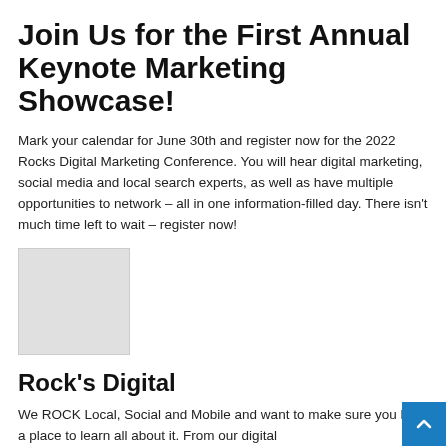Join Us for the First Annual Keynote Marketing Showcase!
Mark your calendar for June 30th and register now for the 2022 Rocks Digital Marketing Conference. You will hear digital marketing, social media and local search experts, as well as have multiple opportunities to network – all in one information-filled day. There isn't much time left to wait – register now!
[Figure (photo): A light grey placeholder image block]
Rock's Digital
We ROCK Local, Social and Mobile and want to make sure you have a place to learn all about it. From our digital